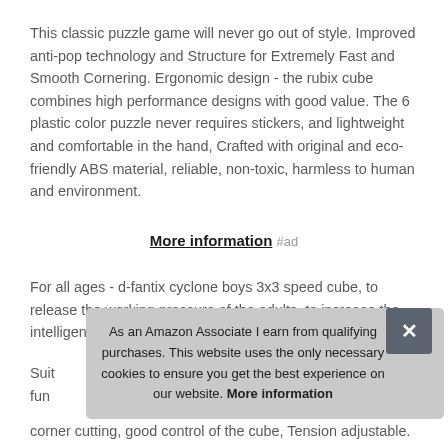This classic puzzle game will never go out of style. Improved anti-pop technology and Structure for Extremely Fast and Smooth Cornering. Ergonomic design - the rubix cube combines high performance designs with good value. The 6 plastic color puzzle never requires stickers, and lightweight and comfortable in the hand, Crafted with original and eco-friendly ABS material, reliable, non-toxic, harmless to human and environment.
More information #ad
For all ages - d-fantix cyclone boys 3x3 speed cube, to release the working pressure of the adults, to increase the intelligence of th
Suit fun corner cutting, good control of the cube, Tension adjustable. It
As an Amazon Associate I earn from qualifying purchases. This website uses the only necessary cookies to ensure you get the best experience on our website. More information